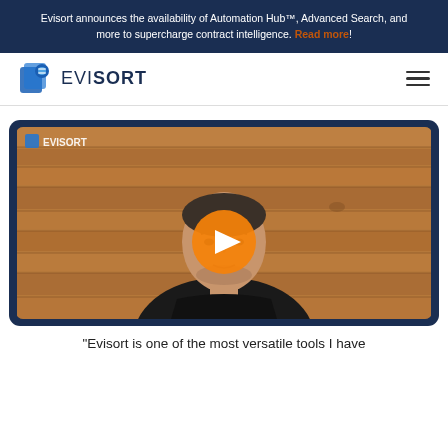Evisort announces the availability of Automation Hub™, Advanced Search, and more to supercharge contract intelligence. Read more!
[Figure (logo): Evisort logo with blue icon and text 'EVISORT' plus hamburger menu icon]
[Figure (screenshot): Video thumbnail showing a man in a black shirt sitting in front of a wood-paneled wall with Evisort logo watermark and an orange play button overlaid in the center]
“Evisort is one of the most versatile tools I have